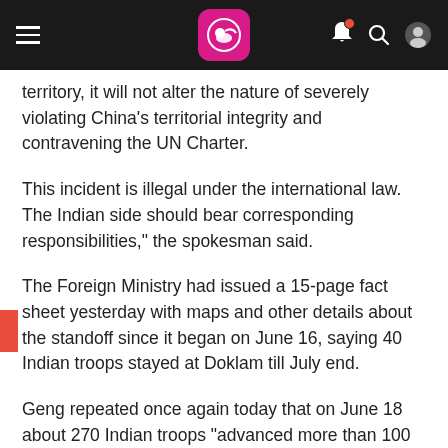Navigation header with hamburger menu, logo, bell, search, and profile icons
territory, it will not alter the nature of severely violating China's territorial integrity and contravening the UN Charter.
This incident is illegal under the international law. The Indian side should bear corresponding responsibilities," the spokesman said.
The Foreign Ministry had issued a 15-page fact sheet yesterday with maps and other details about the standoff since it began on June 16, saying 40 Indian troops stayed at Doklam till July end.
Geng repeated once again today that on June 18 about 270 Indian troops "advanced more than 100